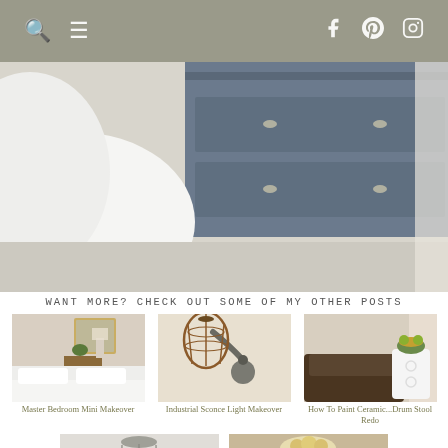Navigation bar with search, menu, Facebook, Pinterest, Instagram icons
[Figure (photo): Partial bedroom scene showing a blue dresser with silver hardware, white bedding, and gray carpet]
WANT MORE? CHECK OUT SOME OF MY OTHER POSTS
[Figure (photo): Master bedroom with white bedding and wooden nightstand]
Master Bedroom Mini Makeover
[Figure (photo): Industrial sconce wall light with cage shade]
Industrial Sconce Light Makeover
[Figure (photo): White ceramic drum stool with decorative cutouts next to a sofa]
How To Paint Ceramic...Drum Stool Redo
[Figure (photo): Wire cage ceiling light fixture]
[Figure (photo): Round white painted coffee table with floral arrangement]